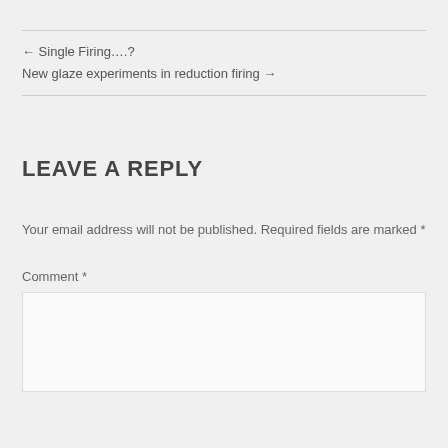← Single Firing….?
New glaze experiments in reduction firing →
LEAVE A REPLY
Your email address will not be published. Required fields are marked *
Comment *